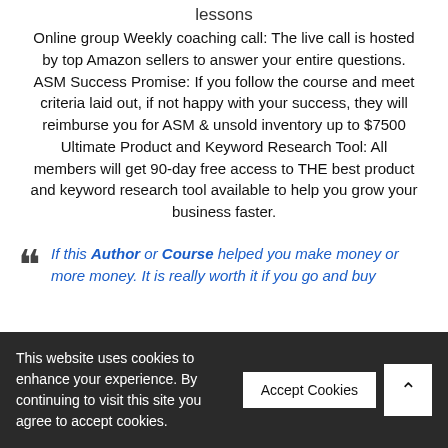lessons
Online group Weekly coaching call: The live call is hosted by top Amazon sellers to answer your entire questions. ASM Success Promise: If you follow the course and meet criteria laid out, if not happy with your success, they will reimburse you for ASM & unsold inventory up to $7500 Ultimate Product and Keyword Research Tool: All members will get 90-day free access to THE best product and keyword research tool available to help you grow your business faster.
If this Author or Course helped you make money or more money. It is really worth it if you go and buy
This website uses cookies to enhance your experience. By continuing to visit this site you agree to accept cookies.